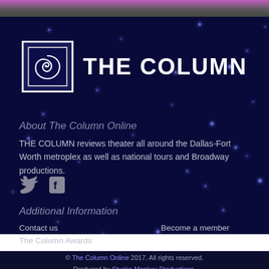[Figure (logo): The Column logo: a square box with a spiral/snail shell icon and the text THE COLUMN in bold white letters]
About The Column Online
THE COLUMN reviews theater all around the Dallas-Fort Worth metroplex as well as national tours and Broadway productions.
[Figure (illustration): Social media icons: Twitter bird icon and Facebook F icon in grey/white]
Additional Information
Contact us
Become a member
The Column Awards
© The Column Online 2017. All rights reserved. Produced by Stucko Monkey Productions.